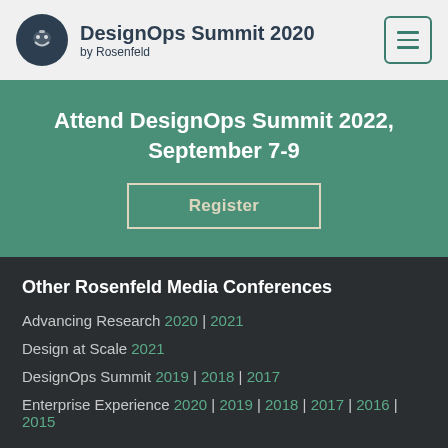DesignOps Summit 2020 by Rosenfeld
Attend DesignOps Summit 2022, September 7-9
Register
Other Rosenfeld Media Conferences
Advancing Research 2020 | 2021
Design at Scale 2021
DesignOps Summit 2019 | 2018 | 2017
Enterprise Experience 2020 | 2019 | 2018 | 2017 | 2016 | 2015
Social media icons